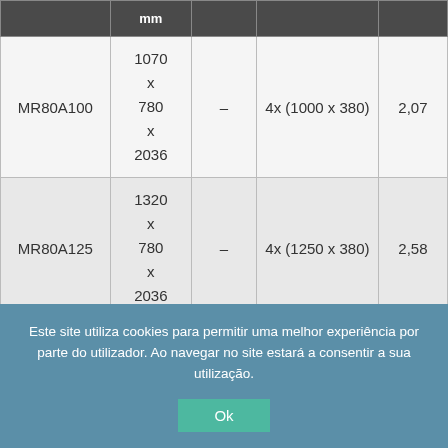|  | mm |  |  |  |
| --- | --- | --- | --- | --- |
| MR80A100 | 1070 x 780 x 2036 | – | 4x (1000 x 380) | 2,07 |
| MR80A125 | 1320 x 780 x 2036 | – | 4x (1250 x 380) | 2,58 |
|  |  |  |  |  |
Este site utiliza cookies para permitir uma melhor experiência por parte do utilizador. Ao navegar no site estará a consentir a sua utilização.